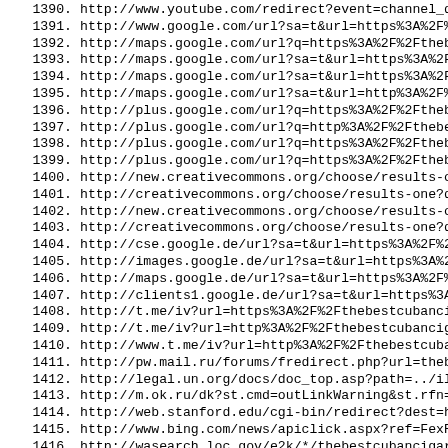1390. http://www.youtube.com/redirect?event=channel_descr
1391. http://www.google.com/url?sa=t&url=https%3A%2F%2Fth
1392. http://maps.google.com/url?q=https%3A%2F%2Fthebestc
1393. http://maps.google.com/url?sa=t&url=https%3A%2F%2Ft
1394. http://maps.google.com/url?sa=t&url=https%3A%2F%2Ft
1395. http://maps.google.com/url?sa=t&url=http%3A%2F%2Fth
1396. http://plus.google.com/url?q=https%3A%2F%2Fthebestc
1397. http://plus.google.com/url?q=http%3A%2F%2Fthebestcu
1398. http://plus.google.com/url?q=https%3A%2F%2Fthebestc
1399. http://plus.google.com/url?q=https%3A%2F%2Fthebestc
1400. http://new.creativecommons.org/choose/results-one?q
1401. http://creativecommons.org/choose/results-one?q_1=2
1402. http://new.creativecommons.org/choose/results-one?q
1403. http://creativecommons.org/choose/results-one?q_1=2
1404. http://cse.google.de/url?sa=t&url=https%3A%2F%2Fthe
1405. http://images.google.de/url?sa=t&url=https%3A%2F%2F
1406. http://maps.google.de/url?sa=t&url=https%3A%2F%2Fth
1407. http://clients1.google.de/url?sa=t&url=https%3A%2F%
1408. http://t.me/iv?url=https%3A%2F%2Fthebestcubancigars
1409. http://t.me/iv?url=http%3A%2F%2Fthebestcubancigars.
1410. http://www.t.me/iv?url=http%3A%2F%2Fthebestcubancig
1411. http://pw.mail.ru/forums/fredirect.php?url=thebestc
1412. http://legal.un.org/docs/doc_top.asp?path=../ilc/do
1413. http://m.ok.ru/dk?st.cmd=outLinkWarning&st.rfn=http
1414. http://web.stanford.edu/cgi-bin/redirect?dest=http%
1415. http://www.bing.com/news/apiclick.aspx?ref=FexRss&a
1416. http://wasearch.loc.gov/e2k/*/thebestcubancigars.co
1417. http://cr.naver.com/redirect-notification?u=https%3
1418. http://bares.blog.idnes.cz/redir.aspx?url=https%3A%
1419. http://es.chaturbate.com/external_link/?url=https%3